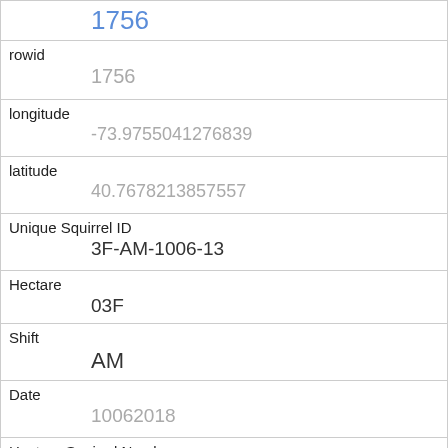| 1756 |
| rowid | 1756 |
| longitude | -73.9755041276839 |
| latitude | 40.7678213857557 |
| Unique Squirrel ID | 3F-AM-1006-13 |
| Hectare | 03F |
| Shift | AM |
| Date | 10062018 |
| Hectare Squirrel Number | 13 |
| Age | Juvenile |
| Primary Fur Color | Gray |